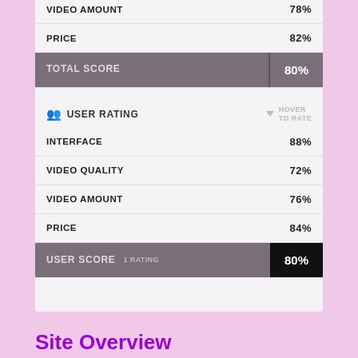| Category | Score |
| --- | --- |
| VIDEO AMOUNT | 78% |
| PRICE | 82% |
| TOTAL SCORE | 80% |
| USER RATING |  |
| INTERFACE | 88% |
| VIDEO QUALITY | 72% |
| VIDEO AMOUNT | 76% |
| PRICE | 84% |
| USER SCORE  1 RATING | 80% |
Site Overview